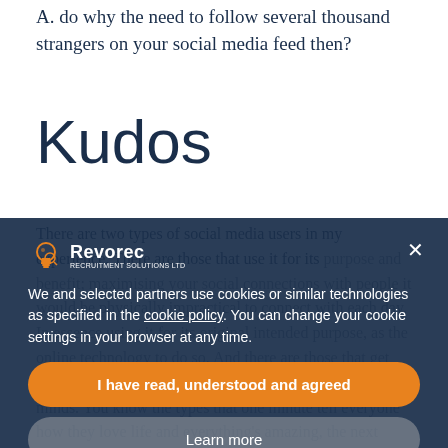A. do why the need to follow several thousand strangers on your social media feed then?
Kudos
There are two types of social media users in my experience. There are those that use it for its purpose and benefit; maximising your social connections with people it would be physically impractical to connect with each day. In essence using it for its original intended purpose, as the online technology to do so. And there are those that get way too involved and let it take over their hearts and minds. You know the types that one minute tell everyone how they love life and everything's amazing, the next minute start saying they're going to quit social media because it's
[Figure (logo): Revorec logo with lightbulb icon and tagline 'Recruitment Solutions Ltd']
We and selected partners use cookies or similar technologies as specified in the cookie policy. You can change your cookie settings in your browser at any time.
I have read, understood and agreed
Learn more